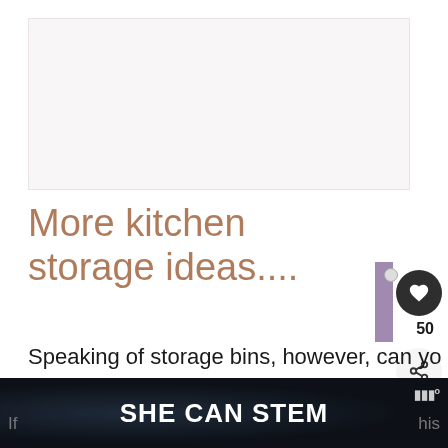[Figure (photo): Light gray placeholder image area at the top of the page]
More kitchen storage ideas....
Speaking of storage bins, however, can you relate to this kitchen annoyance:? S... and misplaced storage lids.
[Figure (infographic): Like/heart button (dark circle with heart icon), count of 50, share button circle]
[Figure (infographic): WHAT'S NEXT arrow label, circular thumbnail, How To Organize Yo... text]
SHE CAN STEM